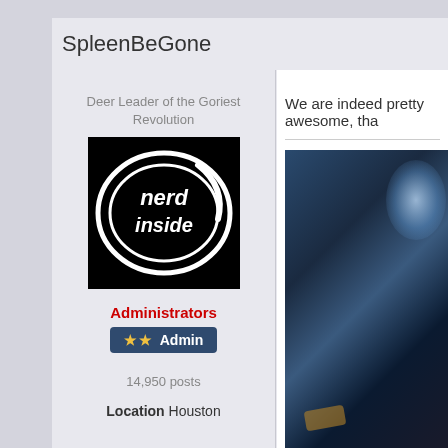SpleenBeGone
Deer Leader of the Goriest Revolution
[Figure (photo): Avatar image: black background with white 'nerd inside' intel-parody logo]
Administrators
★★ Admin
14,950 posts
Location Houston
We are indeed pretty awesome, tha
[Figure (photo): Dark moody photo with blue atmospheric lighting, appears to show a forest or dark scene with light flares]